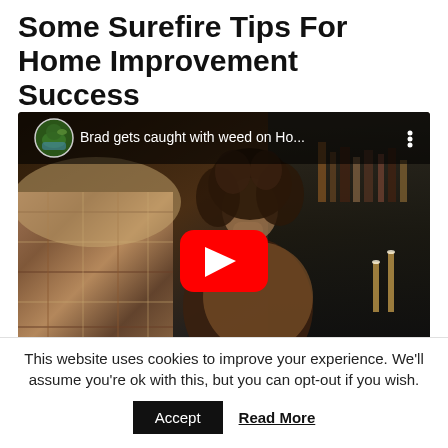Some Surefire Tips For Home Improvement Success
[Figure (screenshot): Embedded YouTube video thumbnail showing a woman with curly hair in a TV scene, with YouTube play button overlay and title 'Brad gets caught with weed on Ho...']
This website uses cookies to improve your experience. We'll assume you're ok with this, but you can opt-out if you wish.
Accept  Read More